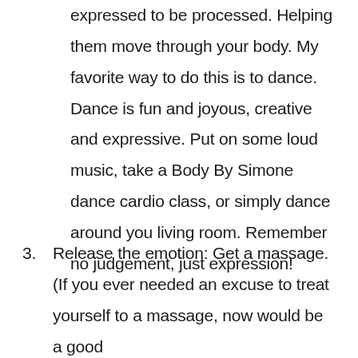expressed to be processed. Helping them move through your body. My favorite way to do this is to dance. Dance is fun and joyous, creative and expressive. Put on some loud music, take a Body By Simone dance cardio class, or simply dance around you living room. Remember no judgement, just expression!
3. Release the emotion: Get a massage. (If you ever needed an excuse to treat yourself to a massage, now would be a good